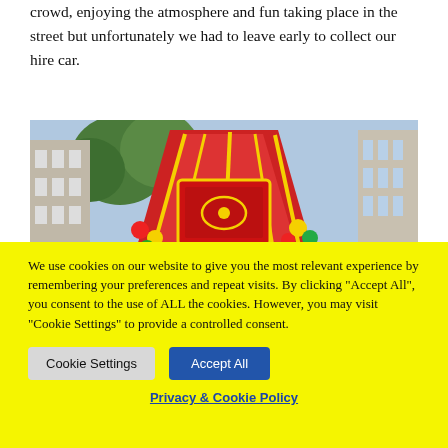crowd, enjoying the atmosphere and fun taking place in the street but unfortunately we had to leave early to collect our hire car.
[Figure (photo): A festival scene showing a large decorated red and yellow canopy or float with ornate patterns, colorful balloons (red, yellow, blue, green), trees and buildings in the background.]
We use cookies on our website to give you the most relevant experience by remembering your preferences and repeat visits. By clicking "Accept All", you consent to the use of ALL the cookies. However, you may visit "Cookie Settings" to provide a controlled consent.
Cookie Settings | Accept All
Privacy & Cookie Policy